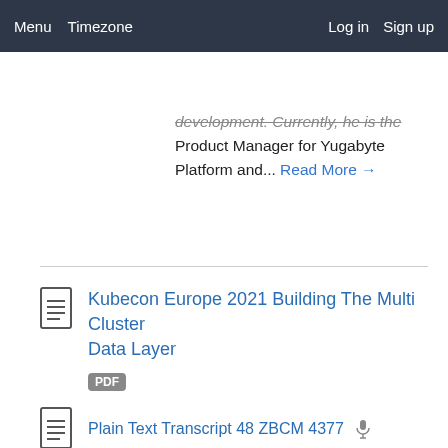Menu  Timezone  Log in  Sign up
development. Currently, he is the Product Manager for Yugabyte Platform and... Read More →
Kubecon Europe 2021 Building The Multi Cluster Data Layer
PDF
Plain Text Transcript 48 ZBCM 4377
Thursday May 6, 2021 11:35 - 12:10 CEST